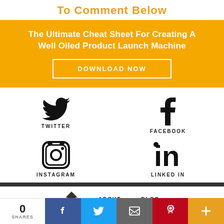To Comment Below
[Figure (infographic): Yellow banner with title 'The Ultimate Cheat Sheet For Creating A Well Oiled Product Launch Machine' and a 'DOWNLOAD NOW' button with white border on gold background]
[Figure (infographic): Social media icons grid: Twitter bird icon, Facebook 'f' icon, Instagram camera icon, LinkedIn 'in' icon, each with label below]
0 SHARES | Facebook share | Twitter share | Email share | Pinterest share | More
Home | ABOUT | BLOG